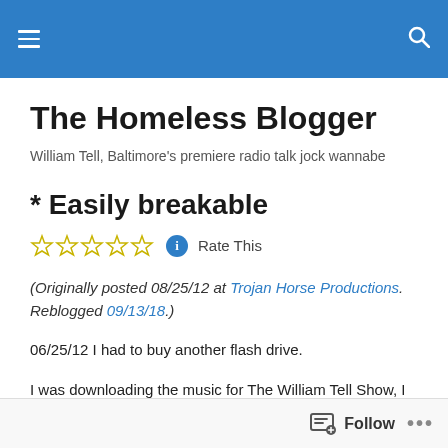The Homeless Blogger — navigation header bar
The Homeless Blogger
William Tell, Baltimore's premiere radio talk jock wannabe
* Easily breakable
Rate This
(Originally posted 08/25/12 at Trojan Horse Productions. Reblogged 09/13/18.)
06/25/12 I had to buy another flash drive.
I was downloading the music for The William Tell Show, I
Follow ...